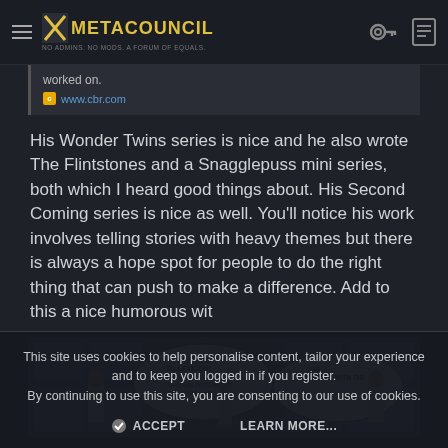METACOUNCIL — No Admins. No Mods. A Forum of Equals.
worked on.
www.cbr.com
His Wonder Twins series is nice and he also wrote The Flintstones and a Snagglepuss mini series, both which I heard good things about. His Second Coming series is nice as well. You'll notice his work involves telling stories with heavy themes but there is always a hope spot for people to do the right thing that can push to make a difference. Add to this a nice humorous wit
[Figure (illustration): Comic panel showing characters in white shirts at what appears to be a prison facility named LEXICON. Speech bubbles read: 'HI WELCOME TO LEXICON! YOU KNOW HAVING YOUR OWN PRISON WORKFORCE CAN...' and 'OUR CONTRACT WITH THE...' and 'I DON'T...']
This site uses cookies to help personalise content, tailor your experience and to keep you logged in if you register.
By continuing to use this site, you are consenting to our use of cookies.
ACCEPT
LEARN MORE...